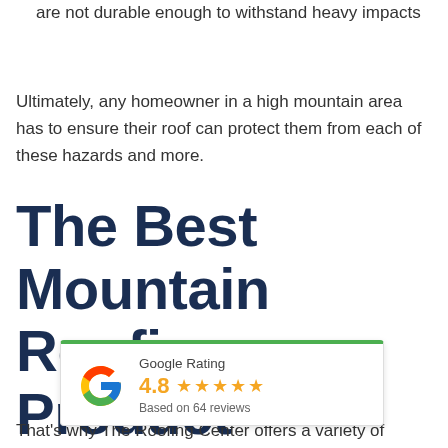are not durable enough to withstand heavy impacts
Ultimately, any homeowner in a high mountain area has to ensure their roof can protect them from each of these hazards and more.
The Best Mountain Roofing Product
[Figure (other): Google Rating widget showing 4.8 stars based on 64 reviews, with Google G logo and green top border]
That's why The Roofing Center offers a variety of